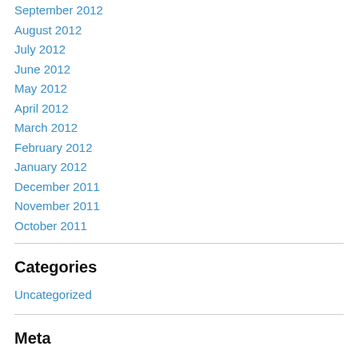September 2012
August 2012
July 2012
June 2012
May 2012
April 2012
March 2012
February 2012
January 2012
December 2011
November 2011
October 2011
Categories
Uncategorized
Meta